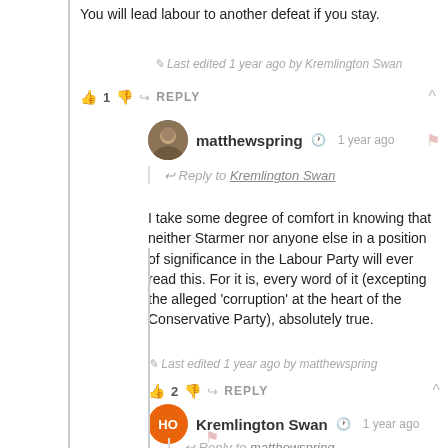You will lead labour to another defeat if you stay.
Last edited 1 year ago by Kremlington Swan
1  REPLY
matthewspring  1 year ago
Reply to Kremlington Swan
I take some degree of comfort in knowing that neither Starmer nor anyone else in a position of significance in the Labour Party will ever read this. For it is, every word of it (excepting the alleged 'corruption' at the heart of the Conservative Party), absolutely true.
Last edited 1 year ago by matthewspring
2  REPLY
Kremlington Swan  1 year ago
Reply to matthewspring